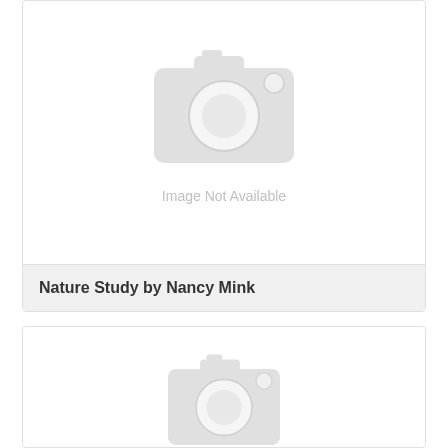[Figure (photo): Image not available placeholder with camera icon]
Nature Study by Nancy Mink
[Figure (photo): Image not available placeholder with camera icon (partially visible)]